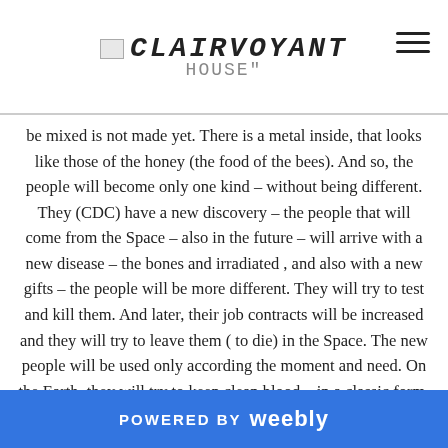CLAIRVOYANT HOUSE
be mixed is not made yet. There is a metal inside, that looks like those of the honey (the food of the bees). And so, the people will become only one kind – without being different. They (CDC) have a new discovery – the people that will come from the Space – also in the future – will arrive with a new disease – the bones and irradiated , and also with a new gifts – the people will be more different. They will try to test and kill them. And later, their job contracts will be increased and they will try to leave them ( to die) in the Space. The new people will be used only according the moment and need. On the Earth, they will try to keep clean blood – in a classic form. October 2018 – It is like the Earth is opening.
POWERED BY weebly